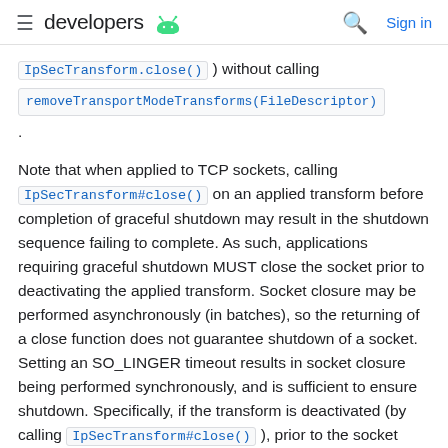≡ developers [android] Q Sign in
IpSecTransform.close() ) without calling removeTransportModeTransforms(FileDescriptor) .
Note that when applied to TCP sockets, calling IpSecTransform#close() on an applied transform before completion of graceful shutdown may result in the shutdown sequence failing to complete. As such, applications requiring graceful shutdown MUST close the socket prior to deactivating the applied transform. Socket closure may be performed asynchronously (in batches), so the returning of a close function does not guarantee shutdown of a socket. Setting an SO_LINGER timeout results in socket closure being performed synchronously, and is sufficient to ensure shutdown. Specifically, if the transform is deactivated (by calling IpSecTransform#close() ), prior to the socket being closed, the standard [FIN, FIN/ACK, ACK] exchange may not...